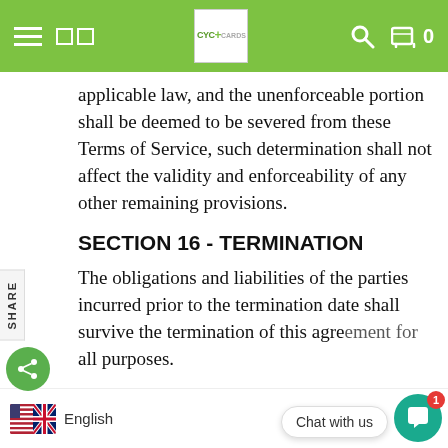CYC+ [logo header with navigation]
applicable law, and the unenforceable portion shall be deemed to be severed from these Terms of Service, such determination shall not affect the validity and enforceability of any other remaining provisions.
SECTION 16 - TERMINATION
The obligations and liabilities of the parties incurred prior to the termination date shall survive the termination of this agreement for all purposes.
English | Chat with us